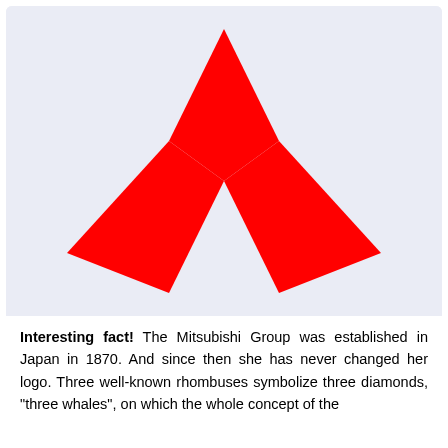[Figure (logo): Mitsubishi logo — three red diamond/rhombus shapes arranged in a star pattern: one pointing up at top center, one pointing lower-left, one pointing lower-right, meeting at a central point.]
Interesting fact! The Mitsubishi Group was established in Japan in 1870. And since then she has never changed her logo. Three well-known rhombuses symbolize three diamonds, "three whales", on which the whole concept of the